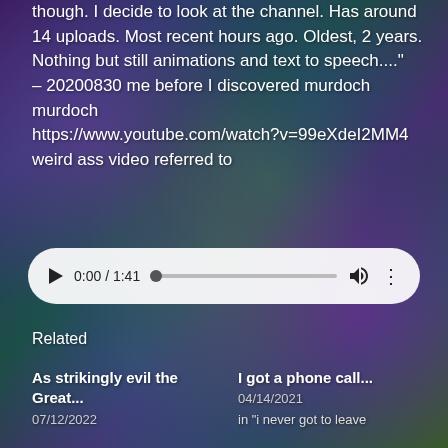though. I decide to look at the channel. Has around 14 uploads. Most recent hours ago. Oldest, 2 years. Nothing but still animations and text to speech...." – 20200830 me before I discovered murdoch murdoch https://www.youtube.com/watch?v=99eXdeI2MM4 weird ass video referred to
[Figure (screenshot): An audio player widget with white rounded pill background, showing play button, time 0:00/1:41, progress bar with dot at start, volume icon, and more options icon.]
Related
As strikingly evil the Great...
I got a phone call... 04/14/2021 in "i never got to leave